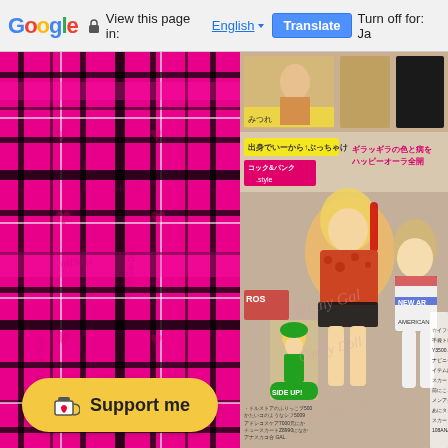Google | View this page in: English [▼] | Translate | Turn off for: Ja
[Figure (screenshot): Left panel with pink and black tartan/plaid pattern background with heart motifs and text watermarks]
[Figure (photo): Japanese fashion magazine page showing young women in colorful gyaru/harajuku fashion with Japanese text overlays]
Support me